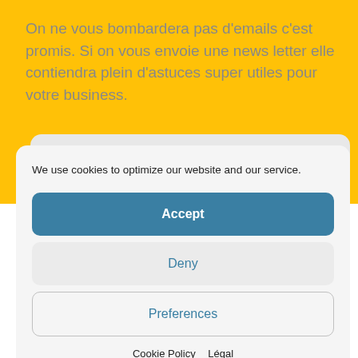On ne vous bombardera pas d'emails c'est promis. Si on vous envoie une news letter elle contiendra plein d'astuces super utiles pour votre business.
We use cookies to optimize our website and our service.
Accept
Deny
Preferences
Cookie Policy  Légal